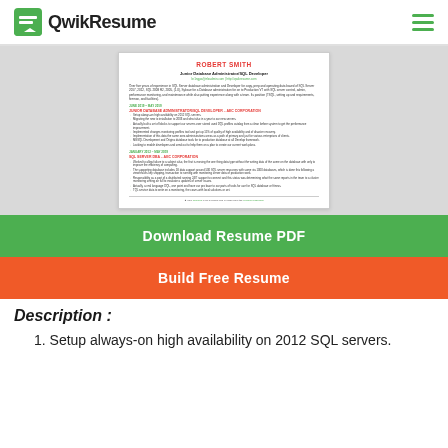QwikResume
[Figure (other): Resume preview thumbnail for Robert Smith, Junior Database Administrator/SQL Developer]
Download Resume PDF
Build Free Resume
Description :
1. Setup always-on high availability on 2012 SQL servers.